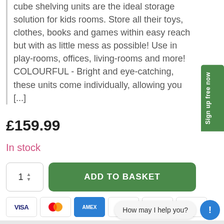cube shelving units are the ideal storage solution for kids rooms. Store all their toys, clothes, books and games within easy reach but with as little mess as possible! Use in play-rooms, offices, living-rooms and more! COLOURFUL - Bright and eye-catching, these units come individually, allowing you [...]
£159.99
In stock
[Figure (screenshot): Add to basket button with quantity selector showing 1, and payment icons for Visa, Mastercard, Amex, PayPal, Diners Club, and Maestro]
[Figure (screenshot): Chat bubble saying 'How may I help you?' with a blue help icon]